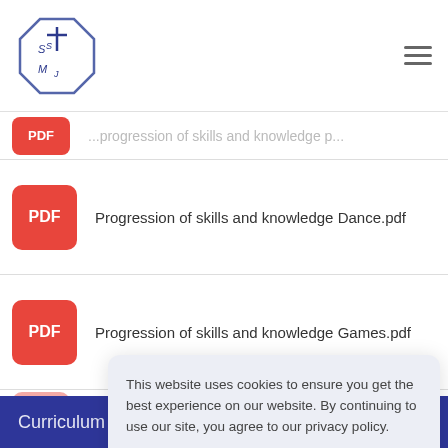SSMJ school website header with logo and navigation menu
Progression of skills and knowledge Dance.pdf
Progression of skills and knowledge Games.pdf
Progression of skills and knowledge Gymnastics.pdf
This website uses cookies to ensure you get the best experience on our website. By continuing to use our site, you agree to our privacy policy. Learn more
Dismiss
Curriculum